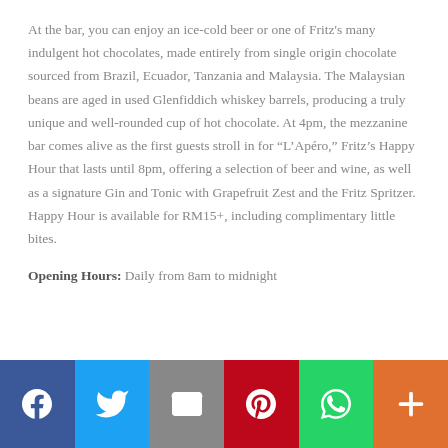At the bar, you can enjoy an ice-cold beer or one of Fritz's many indulgent hot chocolates, made entirely from single origin chocolate sourced from Brazil, Ecuador, Tanzania and Malaysia. The Malaysian beans are aged in used Glenfiddich whiskey barrels, producing a truly unique and well-rounded cup of hot chocolate. At 4pm, the mezzanine bar comes alive as the first guests stroll in for “L’Apéro,” Fritz’s Happy Hour that lasts until 8pm, offering a selection of beer and wine, as well as a signature Gin and Tonic with Grapefruit Zest and the Fritz Spritzer. Happy Hour is available for RM15+, including complimentary little bites.
Opening Hours: Daily from 8am to midnight
[Figure (infographic): Social sharing bar with six colored buttons: Facebook (blue), Twitter (light blue), Email (gray), Pinterest (red), WhatsApp (green), More (orange)]